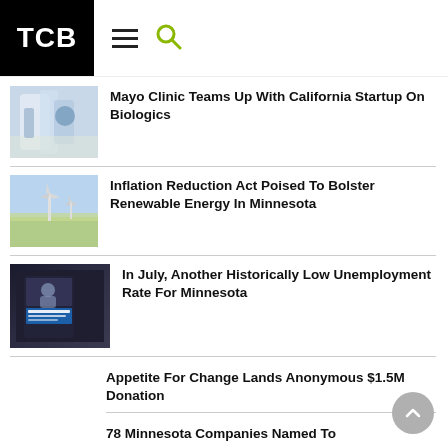TCB
Mayo Clinic Teams Up With California Startup On Biologics
Inflation Reduction Act Poised To Bolster Renewable Energy In Minnesota
In July, Another Historically Low Unemployment Rate For Minnesota
Appetite For Change Lands Anonymous $1.5M Donation
78 Minnesota Companies Named To